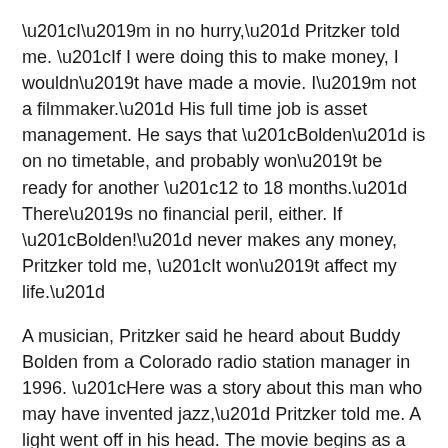“I’m in no hurry,” Pritzker told me. “If I were doing this to make money, I wouldn’t have made a movie. I’m not a filmmaker.” His full time job is asset management. He says that “Bolden” is on no timetable, and probably won’t be ready for another “12 to 18 months.” There’s no financial peril, either. If “Bolden!” never makes any money, Pritzker told me, “It won’t affect my life.”
A musician, Pritzker said he heard about Buddy Bolden from a Colorado radio station manager in 1996. “Here was a story about this man who may have invented jazz,” Pritzker told me. A light went off in his head. The movie begins as a flashback, when Bolden is dying and hearing Louis Armstrong on the radio. The baton has been passed. And then Bolden’s story unfolds.
The movie not only boasts an excellent cast (Wendell Pierce is also in it), but has a famous cinematographer in Vilmos Zsigmond. Five editors are credited on the imdb. Wynton Marsalis wrote the music (and conducted the live orchestra for the “Louis” screenings last year).
The huge list of credits on the imdb.com does suggest that $100 million is not a crazy estimate. But as he says, Pritzker is no